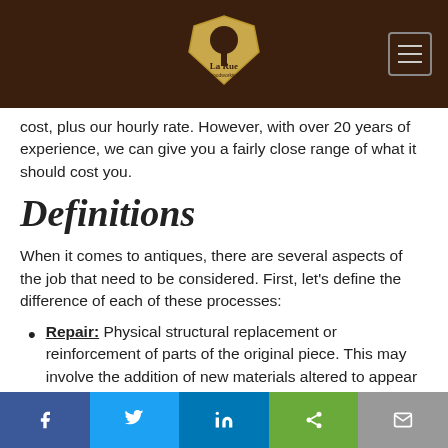La Rue Woodworking
cost, plus our hourly rate. However, with over 20 years of experience, we can give you a fairly close range of what it should cost you.
Definitions
When it comes to antiques, there are several aspects of the job that need to be considered. First, let's define the difference of each of these processes:
Repair: Physical structural replacement or reinforcement of parts of the original piece. This may involve the addition of new materials altered to appear aged, or the application of antique materials to improve the appearance of the repair and preserve the value as much as
f  Twitter  in  Share  Email